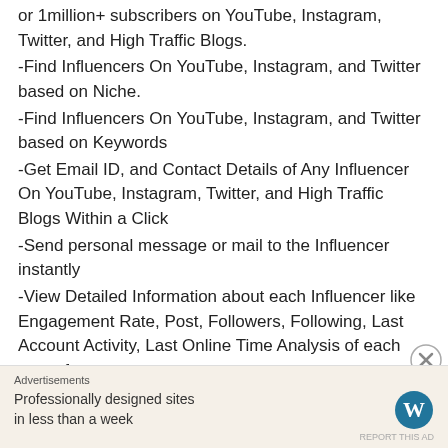or 1million+ subscribers on YouTube, Instagram, Twitter, and High Traffic Blogs.
-Find Influencers On YouTube, Instagram, and Twitter based on Niche.
-Find Influencers On YouTube, Instagram, and Twitter based on Keywords
-Get Email ID, and Contact Details of Any Influencer On YouTube, Instagram, Twitter, and High Traffic Blogs Within a Click
-Send personal message or mail to the Influencer instantly
-View Detailed Information about each Influencer like Engagement Rate, Post, Followers, Following, Last Account Activity, Last Online Time Analysis of each post of
Advertisements
Professionally designed sites in less than a week